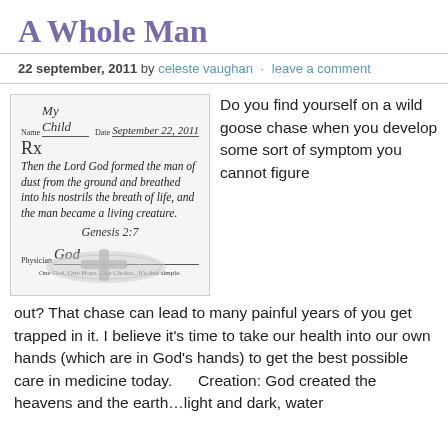A Whole Man
22 september, 2011 by celeste vaughan · leave a comment
[Figure (illustration): A prescription card styled image with handwritten script text reading: Name: My Child, Date: September 22, 2011, Rx, Then the Lord God formed the man of dust from the ground and breathed into his nostrils the breath of life, and the man became a living creature. Genesis 2:7, Physician: God, One God, One Hope, One Choice...It's that simple. A decorative cross necklace appears in the lower portion of the card.]
Do you find yourself on a wild goose chase when you develop some sort of symptom you cannot figure out? That chase can lead to many painful years of you get trapped in it. I believe it's time to take our health into our own hands (which are in God's hands) to get the best possible care in medicine today.      Creation: God created the heavens and the earth…light and dark, water